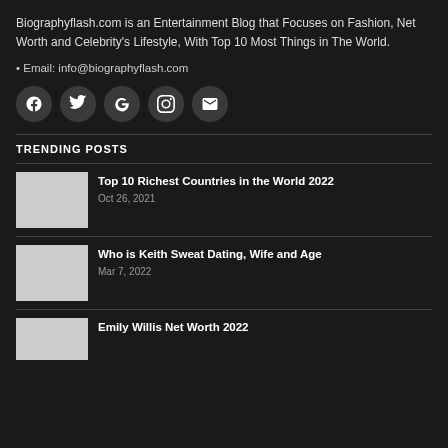Biographyflash.com is an Entertainment Blog that Focuses on Fashion, Net Worth and Celebrity's Lifestyle, With Top 10 Most Things in The World.
• Email: info@biographyflash.com
[Figure (infographic): Five dark circular social media icon buttons: Facebook (f), Twitter (bird), Google (G), Instagram (camera), Email (envelope)]
TRENDING POSTS
[Figure (photo): Thumbnail image placeholder for Top 10 Richest Countries in the World 2022]
Top 10 Richest Countries in the World 2022
Oct 26, 2021
[Figure (photo): Thumbnail image placeholder for Who is Keith Sweat Dating, Wife and Age]
Who is Keith Sweat Dating, Wife and Age
Mar 7, 2022
[Figure (photo): Thumbnail image placeholder for Emily Willis Net Worth 2022]
Emily Willis Net Worth 2022
Mar 7, 2022